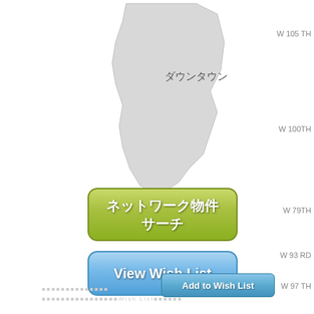[Figure (map): Map showing a downtown neighborhood area with a gray irregular polygon shape representing a district, and street labels on the right side (W 105 TH, W 100TH, W 79TH, W 93 RD, W 97 TH). Contains text label ダウンタウン (Downtown) inside the gray polygon area.]
W 105 TH
W 100TH
W 79TH
W 93 RD
W 97 TH
[Figure (other): Green rounded rectangle button with Japanese text ネットワーク物件サーチ (Network Property Search) in white bold text]
[Figure (other): Blue rounded rectangle button with white bold text 'View Wish List']
[Figure (other): Smaller blue rounded rectangle button with white text 'Add to Wish List']
□□□□□□□□□□□□□□Wish List□□□□□□